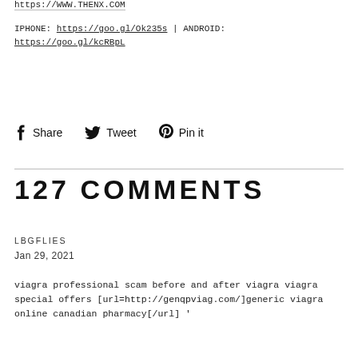https://WWW.THENX.COM
IPHONE: https://goo.gl/Ok235s | ANDROID: https://goo.gl/kcRBpL
Share  Tweet  Pin it
127 COMMENTS
LBGFLIES
Jan 29, 2021
viagra professional scam before and after viagra viagra special offers [url=http://genqpviag.com/]generic viagra online canadian pharmacy[/url] '